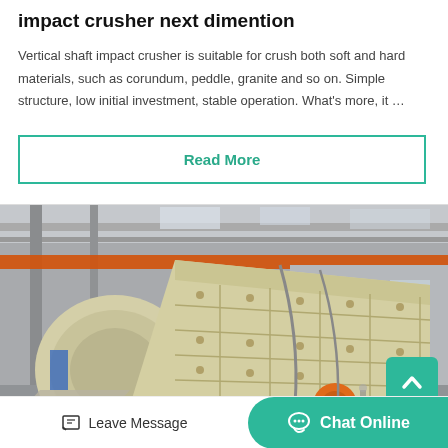impact crusher next dimention
Vertical shaft impact crusher is suitable for crush both soft and hard materials, such as corundum, peddle, granite and so on. Simple structure, low initial investment, stable operation. What's more, it …
Read More
[Figure (photo): Large impact crusher machine in an industrial factory warehouse, with a worker in white helmet standing nearby. The machine is cream/yellow colored and very large. Factory interior with steel beams and orange crane visible above.]
Leave Message
Chat Online